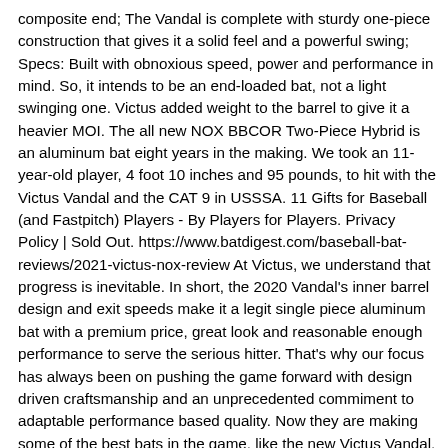composite end; The Vandal is complete with sturdy one-piece construction that gives it a solid feel and a powerful swing; Specs: Built with obnoxious speed, power and performance in mind. So, it intends to be an end-loaded bat, not a light swinging one. Victus added weight to the barrel to give it a heavier MOI. The all new NOX BBCOR Two-Piece Hybrid is an aluminum bat eight years in the making. We took an 11-year-old player, 4 foot 10 inches and 95 pounds, to hit with the Victus Vandal and the CAT 9 in USSSA. 11 Gifts for Baseball (and Fastpitch) Players - By Players for Players. Privacy Policy | Sold Out. https://www.batdigest.com/baseball-bat-reviews/2021-victus-nox-review At Victus, we understand that progress is inevitable. In short, the 2020 Vandal's inner barrel design and exit speeds make it a legit single piece aluminum bat with a premium price, great look and reasonable enough performance to serve the serious hitter. That's why our focus has always been on pushing the game forward with design driven craftsmanship and an unprecedented commiment to adaptable performance based quality. Now they are making some of the best bats in the game, like the new Victus Vandal. The USSSA Baseball certified Victus Vandal -10 Senior League bat is engineered with an ultra-balanced design, low M.O.I for faster bat speed and a carbon composite barrel-end, resulting in faster exit speeds through the zone. The Victus Product line is now offering Aluminum Baseball bats to their portfolio. Generally, mid